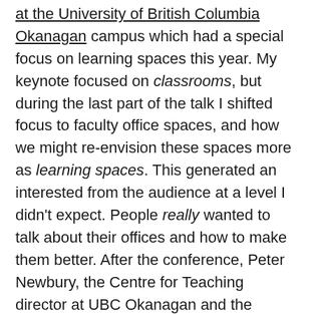keynote address at the Lifelong Learning Conference at the University of British Columbia Okanagan campus which had a special focus on learning spaces this year. My keynote focused on classrooms, but during the last part of the talk I shifted focus to faculty office spaces, and how we might re-envision these spaces more as learning spaces. This generated an interested from the audience at a level I didn't expect. People really wanted to talk about their offices and how to make them better. After the conference, Peter Newbury, the Centre for Teaching director at UBC Okanagan and the organizer of the conference, even put together a grant program to office money for faculty to update their offices; unfortunately it didn't get off the ground this time, but it got a strong response from faculty.